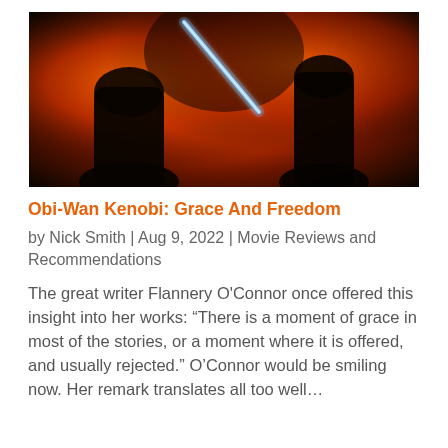[Figure (photo): Movie still/poster showing two silhouetted figures in a lightsaber duel against a fiery orange and red background. One figure on the left holds a lightsaber, the other on the right wields a blue lightsaber.]
Obi-Wan Kenobi: Grace And Freedom
by Nick Smith | Aug 9, 2022 | Movie Reviews and Recommendations
The great writer Flannery O'Connor once offered this insight into her works:  “There is a moment of grace in most of the stories, or a moment where it is offered, and usually rejected.”  O’Connor would be smiling now.  Her remark translates all too well…